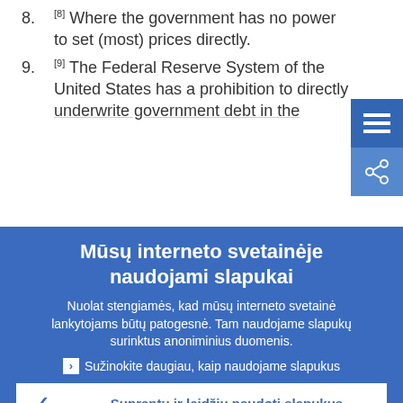8. [8] Where the government has no power to set (most) prices directly.
9. [9] The Federal Reserve System of the United States has a prohibition to directly underwrite government debt in the
Mūsų interneto svetainėje naudojami slapukai
Nuolat stengiamės, kad mūsų interneto svetainė lankytojams būtų patogesnė. Tam naudojame slapukų surinktus anoniminius duomenis.
› Sužinokite daugiau, kaip naudojame slapukus
✓ Suprantu ir leidžiu naudoti slapukus
✗ Neleidžiu naudoti slapukų